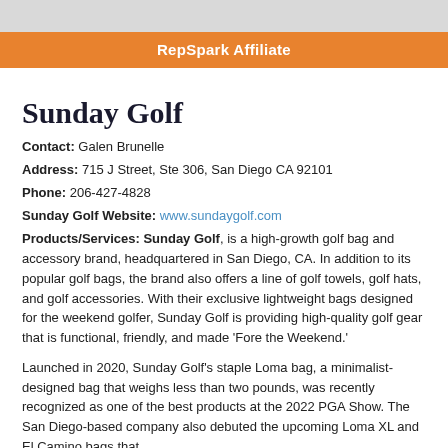RepSpark Affiliate
Sunday Golf
Contact: Galen Brunelle
Address: 715 J Street, Ste 306, San Diego CA 92101
Phone: 206-427-4828
Sunday Golf Website: www.sundaygolf.com
Products/Services: Sunday Golf, is a high-growth golf bag and accessory brand, headquartered in San Diego, CA. In addition to its popular golf bags, the brand also offers a line of golf towels, golf hats, and golf accessories. With their exclusive lightweight bags designed for the weekend golfer, Sunday Golf is providing high-quality golf gear that is functional, friendly, and made 'Fore the Weekend.'
Launched in 2020, Sunday Golf’s staple Loma bag, a minimalist-designed bag that weighs less than two pounds, was recently recognized as one of the best products at the 2022 PGA Show. The San Diego-based company also debuted the upcoming Loma XL and El Camino bags that